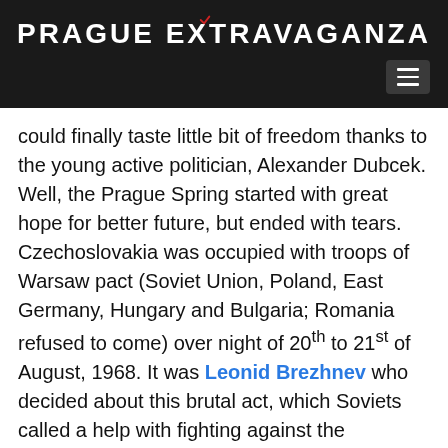PRAGUE EXTRAVAGANZA
could finally taste little bit of freedom thanks to the young active politician, Alexander Dubcek. Well, the Prague Spring started with great hope for better future, but ended with tears. Czechoslovakia was occupied with troops of Warsaw pact (Soviet Union, Poland, East Germany, Hungary and Bulgaria; Romania refused to come) over night of 20th to 21st of August, 1968. It was Leonid Brezhnev who decided about this brutal act, which Soviets called a help with fighting against the capitalism. More than 100 people died in the streets of former Czechoslovakia. True help indeed! Then the comrades in Moscow decided to make Czechoslovakia “ normal” again, so the times of Normalisation slowly begun.